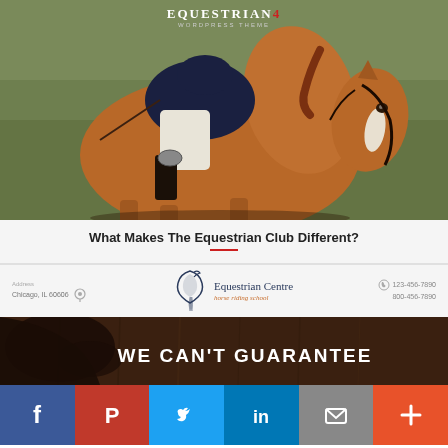[Figure (photo): A chestnut horse with a white blaze being ridden by a jockey in white breeches and dark jacket, dressage style, with green blurred background. Equestrian WordPress theme logo overlaid at top center.]
What Makes The Equestrian Club Different?
[Figure (logo): Equestrian Centre horse riding school logo with stylized horse head and text 'Equestrian Centre - horse riding school', flanked by address (Chicago, IL 60606) on left and phone numbers (123-456-7890, 800-456-7890) on right.]
[Figure (photo): Dark atmospheric image with a horse silhouette on the left and barn wood texture background. Text overlay reads 'WE CAN'T GUARANTEE' in white capital letters.]
[Figure (infographic): Social media share bar with six colored buttons: Facebook (blue, f), Pinterest (red, P), Twitter (light blue, bird), LinkedIn (dark blue, in), Email (grey, envelope), More (orange-red, plus sign).]